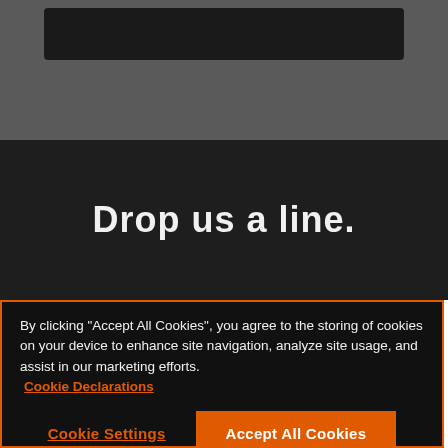[Figure (screenshot): Dark gray background section with a black rectangular bar at top center, representing a website header area]
Drop us a line.
By clicking “Accept All Cookies”, you agree to the storing of cookies on your device to enhance site navigation, analyze site usage, and assist in our marketing efforts. Cookie Declarations
Cookie Settings
Accept All Cookies